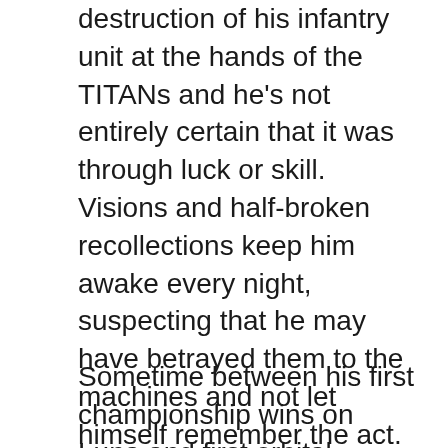destruction of his infantry unit at the hands of the TITANs and he's not entirely certain that it was through luck or skill. Visions and half-broken recollections keep him awake every night, suspecting that he may have betrayed them to the machines and not let himself remember the act. It might be that his love of death-defying sports and spending long hours signing autographs and chatting with his fans might have something to do with this. His muse has taken to badgering him to have periodic backups left with his insurance company, just in case.
Sometime between his first championship wins on Luna and first orbital skydive on Mars, Abnantine fall in with a group of Ultimate